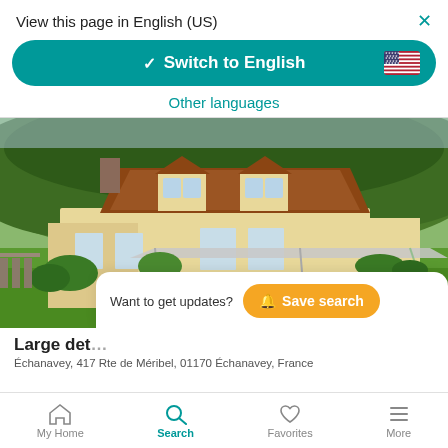View this page in English (US)
[Figure (screenshot): Switch to English button — teal rounded rectangle with checkmark and US flag emoji, text 'Switch to English']
Other languages
[Figure (photo): Photo of a large detached house with red/brown tiled roof, yellow/cream walls, green lawn and garden, trees and forested hills in background — a French country property.]
Want to get updates?
Save search
Large det…
Échanavey, 417 Rte de Méribel, 01170 Échanavey, France
My Home  Search  Favorites  More